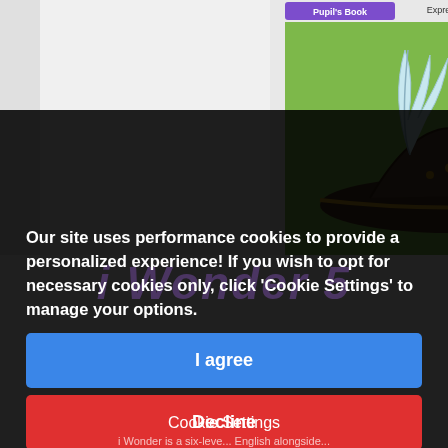[Figure (photo): Screenshot of an educational website showing a book cover for 'i Wonder 5 Pupil's Book' by Express Publishing, with a dark semi-transparent cookie consent overlay. The book cover features a pirate hat with a feather on a green background.]
Our site uses performance cookies to provide a personalized experience! If you wish to opt for necessary cookies only, click 'Cookie Settings' to manage your options.
I agree
Decline
Cookie Settings
i Wonder is a six-leve... English alongside...